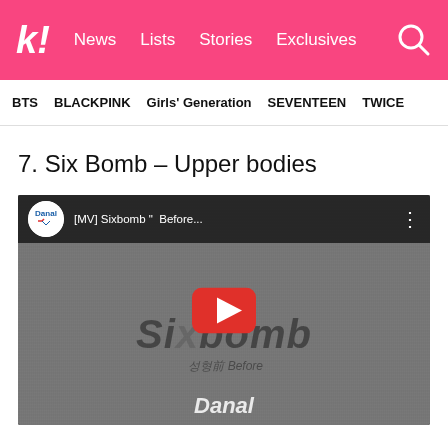k! News Lists Stories Exclusives
BTS  BLACKPINK  Girls' Generation  SEVENTEEN  TWICE
7. Six Bomb – Upper bodies
[Figure (screenshot): YouTube video embed showing [MV] Sixbomb music video thumbnail with Danal channel icon, grey textured background, Sixbomb watermark text, and YouTube play button]